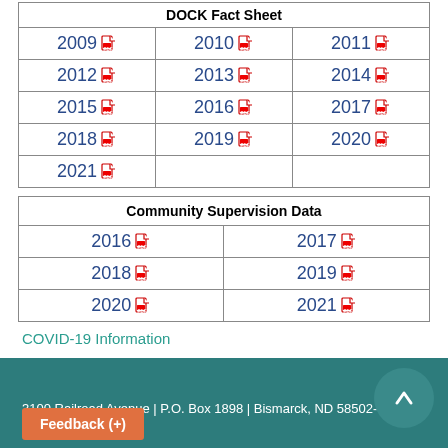| DOCK Fact Sheet |  |  |
| --- | --- | --- |
| 2009 | 2010 | 2011 |
| 2012 | 2013 | 2014 |
| 2015 | 2016 | 2017 |
| 2018 | 2019 | 2020 |
| 2021 |  |  |
| Community Supervision Data |  |
| --- | --- |
| 2016 | 2017 |
| 2018 | 2019 |
| 2020 | 2021 |
COVID-19 Information
3100 Railroad Avenue | P.O. Box 1898 | Bismarck, ND 58502-